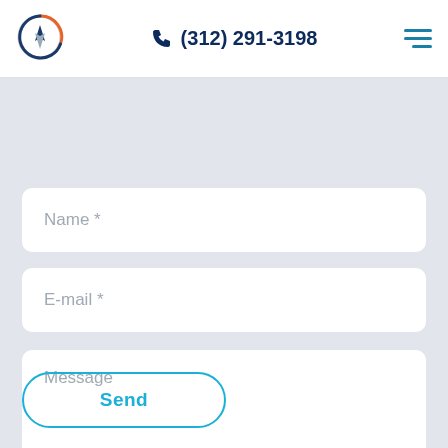[Figure (logo): Circular compass/navigation logo with orange and blue/grey gradient ring]
(312) 291-3198
[Figure (other): Hamburger menu icon with three teal horizontal lines]
Name *
E-mail *
Message
Send